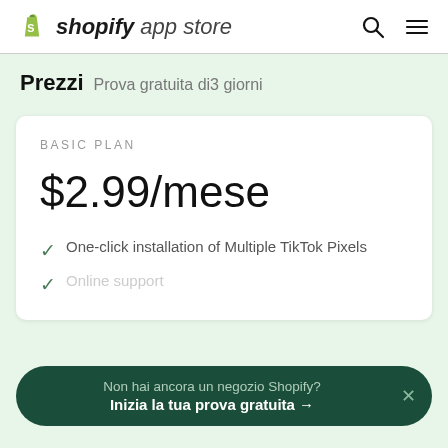shopify app store
Prezzi  Prova gratuita di3 giorni
BASIC PLAN
$2.99/mese
One-click installation of Multiple TikTok Pixels
Non hai ancora un negozio Shopify? Inizia la tua prova gratuita →
Online support